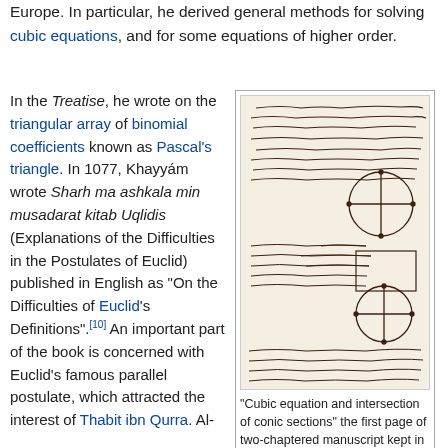Europe. In particular, he derived general methods for solving cubic equations, and for some equations of higher order.
In the Treatise, he wrote on the triangular array of binomial coefficients known as Pascal's triangle. In 1077, Khayyám wrote Sharh ma ashkala min musadarat kitab Uqlidis (Explanations of the Difficulties in the Postulates of Euclid) published in English as "On the Difficulties of Euclid's Definitions".[10] An important part of the book is concerned with Euclid's famous parallel postulate, which attracted the interest of Thabit ibn Qurra. Al-
[Figure (photo): A manuscript page showing Arabic text and geometric diagrams including circles with crosshairs, illustrating cubic equations and intersections of conic sections.]
"Cubic equation and intersection of conic sections" the first page of two-chaptered manuscript kept in Tehran University